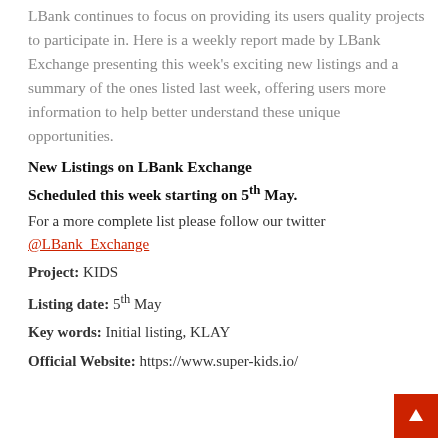LBank continues to focus on providing its users quality projects to participate in. Here is a weekly report made by LBank Exchange presenting this week's exciting new listings and a summary of the ones listed last week, offering users more information to help better understand these unique opportunities.
New Listings on LBank Exchange
Scheduled this week starting on 5th May.
For a more complete list please follow our twitter @LBank_Exchange
Project: KIDS
Listing date: 5th May
Key words: Initial listing, KLAY
Official Website: https://www.super-kids.io/